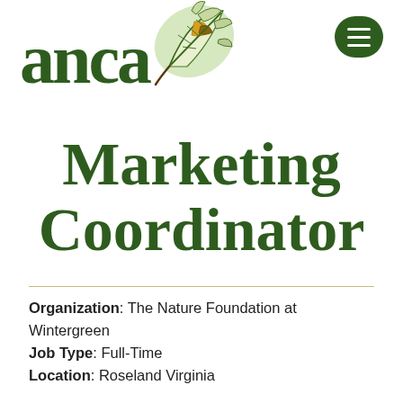[Figure (logo): ANCA logo with green serif text 'anca' and a decorative oak leaf illustration in green, gold, and brown tones]
Marketing Coordinator
Organization: The Nature Foundation at Wintergreen
Job Type: Full-Time
Location: Roseland Virginia